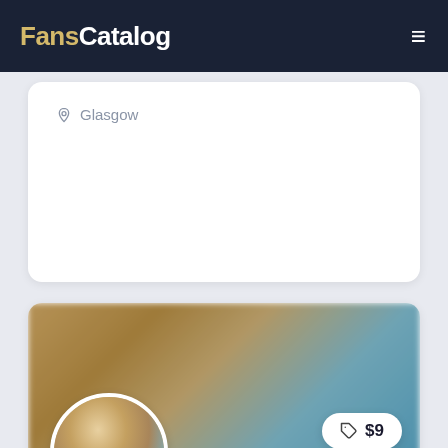FansCatalog
Glasgow
[Figure (photo): Profile card for bakedbabe showing a blurred banner photo with a circular avatar of a blonde woman taking a selfie, price tag showing $9]
ASH 🐱
@bakedbabe
Glasgow